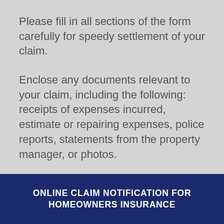Please fill in all sections of the form carefully for speedy settlement of your claim.
Enclose any documents relevant to your claim, including the following: receipts of expenses incurred, estimate or repairing expenses, police reports, statements from the property manager, or photos.
ONLINE CLAIM NOTIFICATION FOR HOMEOWNERS INSURANCE